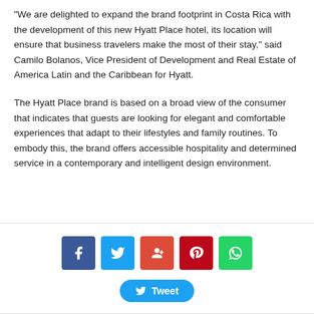“We are delighted to expand the brand footprint in Costa Rica with the development of this new Hyatt Place hotel, its location will ensure that business travelers make the most of their stay,” said Camilo Bolanos, Vice President of Development and Real Estate of America Latin and the Caribbean for Hyatt.
The Hyatt Place brand is based on a broad view of the consumer that indicates that guests are looking for elegant and comfortable experiences that adapt to their lifestyles and family routines. To embody this, the brand offers accessible hospitality and determined service in a contemporary and intelligent design environment.
[Figure (infographic): Social sharing bar with Facebook, Twitter, Google+, Pinterest, and WhatsApp icon buttons, plus a Tweet button below]